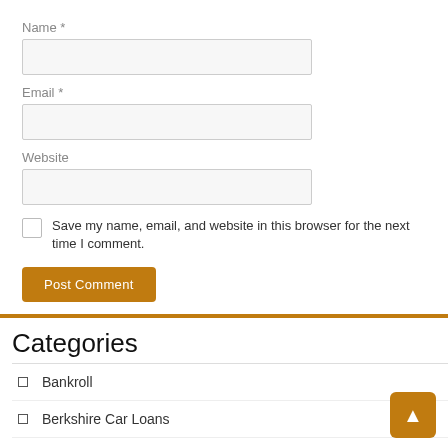Name *
Email *
Website
Save my name, email, and website in this browser for the next time I comment.
Post Comment
Categories
Bankroll
Berkshire Car Loans
Berkshire Mortgages
Bracknell Real Estate